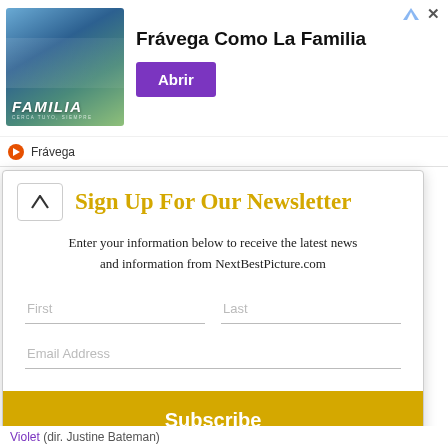[Figure (advertisement): Frávega Como La Familia ad banner with group photo and purple Abrir button]
Sign Up For Our Newsletter
Enter your information below to receive the latest news and information from NextBestPicture.com
First | Last | Email Address | Subscribe
Violet (dir. Justine Bateman)